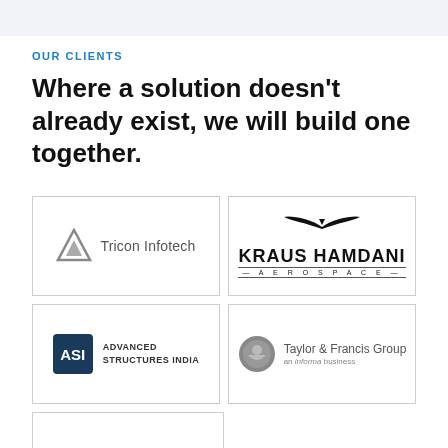OUR CLIENTS
Where a solution doesn’t already exist, we will build one together.
[Figure (logo): Tricon Infotech logo: triangle/delta icon with text 'Tricon Infotech']
[Figure (logo): Kraus Hamdani Aerospace logo: stylized aircraft/bird silhouette above text 'KRAUS HAMDANI' with 'AEROSPACE' below in spaced letters]
[Figure (logo): Advanced Structures India logo: Dark blue square badge with 'ASI' text, next to 'ADVANCED STRUCTURES INDIA']
[Figure (logo): Taylor & Francis Group logo: circular icon with 'Taylor & Francis Group, an informa business' text]